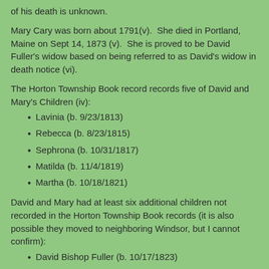of his death is unknown.
Mary Cary was born about 1791(v). She died in Portland, Maine on Sept 14, 1873 (v). She is proved to be David Fuller's widow based on being referred to as David's widow in death notice (vi).
The Horton Township Book record records five of David and Mary's Children (iv):
Lavinia (b. 9/23/1813)
Rebecca (b. 8/23/1815)
Sephrona (b. 10/31/1817)
Matilda (b. 11/4/1819)
Martha (b. 10/18/1821)
David and Mary had at least six additional children not recorded in the Horton Township Book records (it is also possible they moved to neighboring Windsor, but I cannot confirm):
David Bishop Fuller (b. 10/17/1823)
Benjamin (b. 12/1825)
James (b. 9/25/1827)